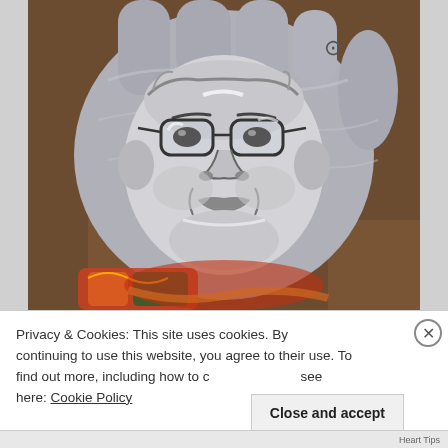[Figure (photo): A black and white painted portrait of an elderly man with glasses painted on a human hand. The hand is held up with fingers visible at top, and has colorful tattoos at the wrist area. The background is a warm brown wooden tone.]
Privacy & Cookies: This site uses cookies. By continuing to use this website, you agree to their use. To find out more, including how to control cookies, see here: Cookie Policy